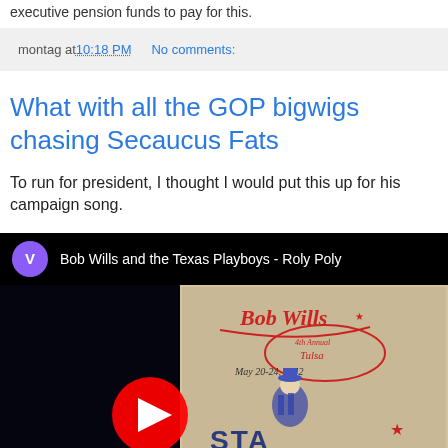executive pension funds to pay for this.
montag at 10:18 PM   No comments:
What with all the GOP bigwigs chasing Secaucus Fats
To run for president, I thought I would put this up for his campaign song.
[Figure (screenshot): YouTube video thumbnail showing Bob Wills and the Texas Playboys - Roly Poly. A vintage music poster from May 20-24, 1942 featuring cowboy illustration. YouTube play button overlay visible.]